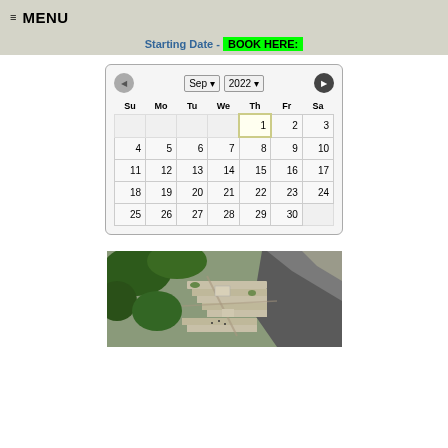≡ MENU
Starting Date - BOOK HERE:
[Figure (screenshot): A calendar widget showing September 2022 with navigation arrows and month/year dropdowns. Day 1 is highlighted with a yellow border.]
[Figure (photo): Aerial photograph of Machu Picchu ancient Incan ruins showing terraced stone structures with surrounding jungle and mountain cliffs.]